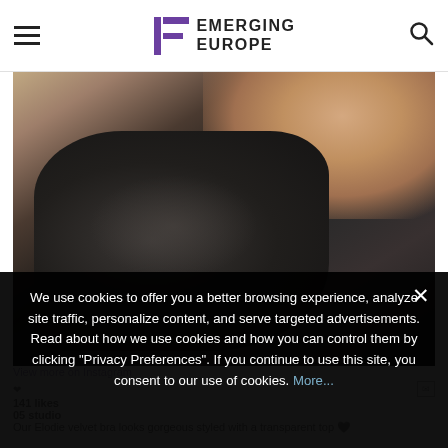Emerging Europe
[Figure (photo): Fashion photo showing a person wearing a black sheer/transparent top, torso and partial arm visible, blurred background]
View more on Instagram
141 likes
05 studio
Our Elodie velvet bra looks gorgeous styled with a transparent top 🖤
We use cookies to offer you a better browsing experience, analyze site traffic, personalize content, and serve targeted advertisements. Read about how we use cookies and how you can control them by clicking "Privacy Preferences". If you continue to use this site, you consent to our use of cookies. More...